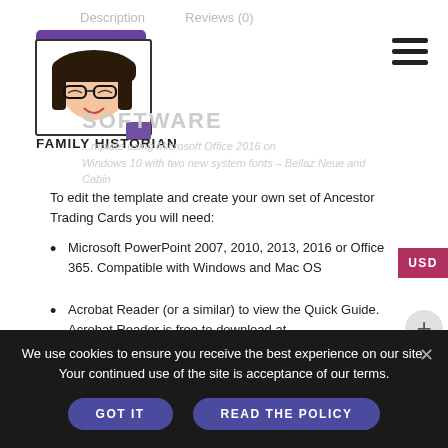Description    Reviews (0)
[Figure (logo): The Creative Family Historian logo with cartoon girl illustration and purple banner]
SOFTWARE
...mplate using Microsoft Office 2016 on Windows 10 with two new system fonts – Bellaz Neue and Cabin
To edit the template and create your own set of Ancestor Trading Cards you will need:
Microsoft PowerPoint 2007, 2010, 2013, 2016 or Office 365. Compatible with Windows and Mac OS
Acrobat Reader (or a similar) to view the Quick Guide. Acrobat Reader is free to download at https://get.adobe.com/reader/
File compression/decompression software (WINZIP or similar)
USD
We use cookies to ensure you receive the best experience on our site. Your continued use of the site is acceptance of our terms.
GOT IT    READ THE POLICY